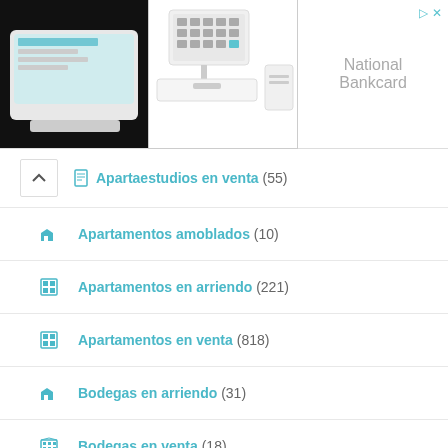[Figure (photo): Advertisement banner showing POS terminal devices and National Bankcard branding]
Apartaestudios en venta (55)
Apartamentos amoblados (10)
Apartamentos en arriendo (221)
Apartamentos en venta (818)
Bodegas en arriendo (31)
Bodegas en venta (18)
Cabañas en arriendo (1)
Cabañas en venta (41)
Casa campestre en arriendo (3)
Casa campestre en venta (102)